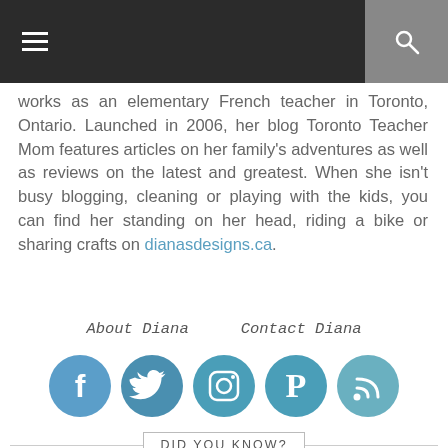[hamburger menu icon] [search icon]
works as an elementary French teacher in Toronto, Ontario. Launched in 2006, her blog Toronto Teacher Mom features articles on her family's adventures as well as reviews on the latest and greatest. When she isn't busy blogging, cleaning or playing with the kids, you can find her standing on her head, riding a bike or sharing crafts on dianasdesigns.ca.
About Diana     Contact Diana
[Figure (other): Social media icons: Facebook, Twitter, Instagram, Pinterest, RSS feed — circular teal/blue buttons with white icons]
DID YOU KNOW?